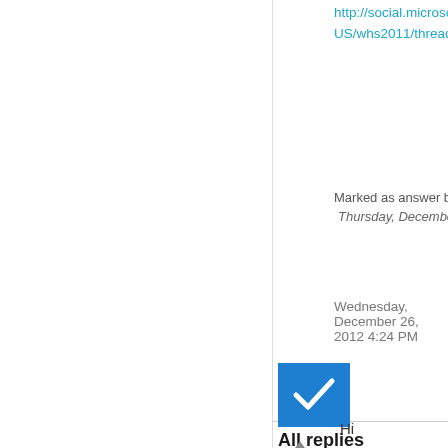http://social.microsoft.com/Forums/en-US/whs2011/thread/9fefd31f-7a2b-4c33-84e5-c7be1d140f7f
Marked as answer by Andy Qi Thursday, December 27, 2012 9:09 AM
Wednesday, December 26, 2012 4:24 PM
All replies
[Figure (other): Blue checkbox with white checkmark indicating marked answer]
[Figure (other): Upvote triangle arrow button]
0
Sign in to vote
Hi